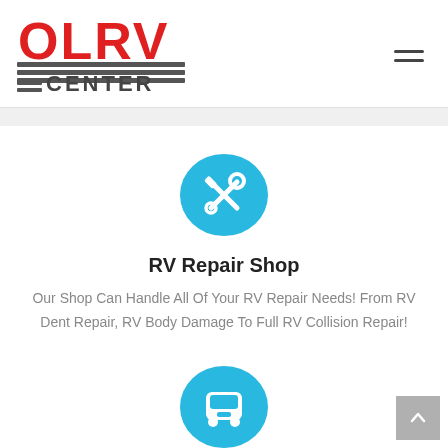[Figure (logo): OLRV Center logo with red stylized letters and gray horizontal lines beneath spelling CENTER]
[Figure (illustration): Cyan circle icon with white crossed screwdriver and wrench tools]
RV Repair Shop
Our Shop Can Handle All Of Your RV Repair Needs! From RV Dent Repair, RV Body Damage To Full RV Collision Repair!
[Figure (illustration): Cyan circle icon with white RV/bus front silhouette]